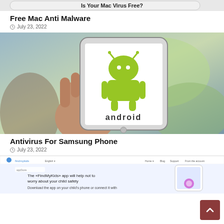[Figure (screenshot): Cropped top portion of a 'Is Your Mac Virus Free?' article image]
Free Mac Anti Malware
July 23, 2022
[Figure (photo): Hand holding a Samsung Android smartphone displaying the Android logo on screen]
Antivirus For Samsung Phone
July 23, 2022
[Figure (screenshot): Screenshot of FindMyKids website with text: The «FindMyKids» app will help not to worry about your child safety. Download the app on your child's phone or connect it with]